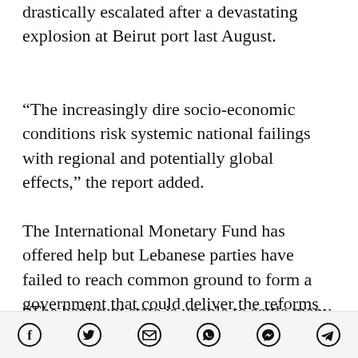drastically escalated after a devastating explosion at Beirut port last August.
“The increasingly dire socio-economic conditions risk systemic national failings with regional and potentially global effects,” the report added.
The International Monetary Fund has offered help but Lebanese parties have failed to reach common ground to form a government that could deliver the reforms on which foreign aid is conditioned.
“The bankrupt state is unable to settle many of its bills and Lebanon’s own energy minister
Social share icons: Facebook, Twitter, Email, WhatsApp, Messenger, Telegram